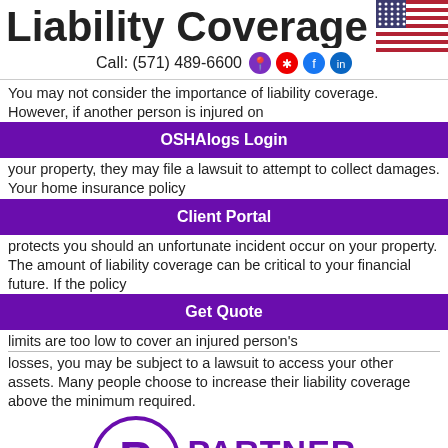Liability Covera...
Call: (571) 489-6600
You may not consider the importance of liability coverage. However, if another person is injured on your property, they may file a lawsuit to attempt to collect damages. Your home insurance policy protects you should an unfortunate incident occur on your property. The amount of liability coverage can be critical to your financial future. If the policy limits are too low to cover an injured person's losses, you may be subject to a lawsuit to access your other assets. Many people choose to increase their liability coverage above the minimum required.
OSHAlogs Login
Client Portal
Get Quote
[Figure (logo): Partner Insurance logo — circle with P, text PARTNER INSURANCE]
MENU
When You Need a